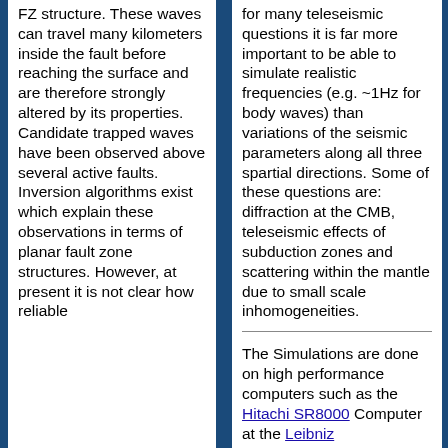FZ structure. These waves can travel many kilometers inside the fault before reaching the surface and are therefore strongly altered by its properties. Candidate trapped waves have been observed above several active faults. Inversion algorithms exist which explain these observations in terms of planar fault zone structures. However, at present it is not clear how reliable
for many teleseismic questions it is far more important to be able to simulate realistic frequencies (e.g. ~1Hz for body waves) than variations of the seismic parameters along all three spartial directions. Some of these questions are: diffraction at the CMB, teleseismic effects of subduction zones and scattering within the mantle due to small scale inhomogeneities.
The Simulations are done on high performance computers such as the Hitachi SR8000 Computer at the Leibniz